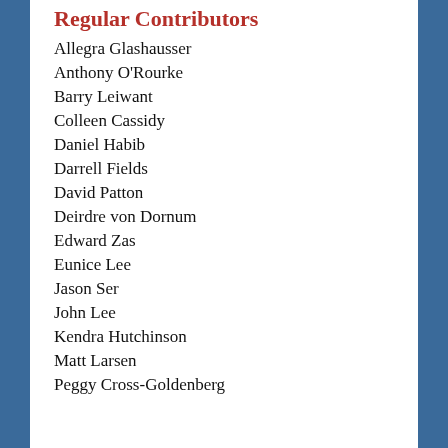Regular Contributors
Allegra Glashausser
Anthony O'Rourke
Barry Leiwant
Colleen Cassidy
Daniel Habib
Darrell Fields
David Patton
Deirdre von Dornum
Edward Zas
Eunice Lee
Jason Ser
John Lee
Kendra Hutchinson
Matt Larsen
Peggy Cross-Goldenberg